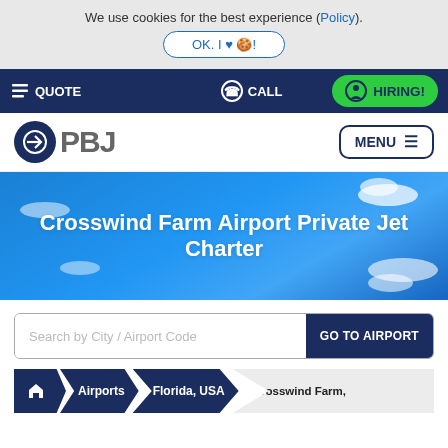We use cookies for the best experience (Policy).
OK. I ♥ 🍪!
QUOTE | CALL | HIRING!
[Figure (logo): PBJ logo with airplane arrow icon in dark blue circle]
MENU
Crosswind Farm Airport Private Jet Charter
Search by City / Airport Code
GO TO AIRPORT
Airports > Florida, USA > Crosswind Farm,